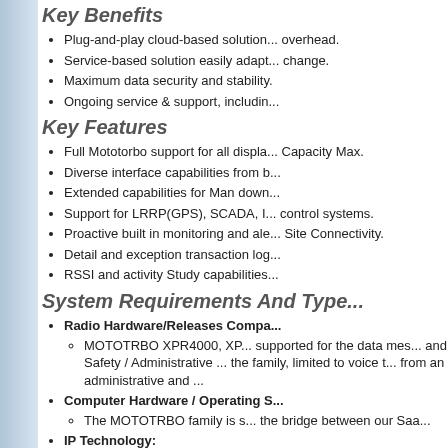Key Benefits
Plug-and-play cloud-based solution... overhead.
Service-based solution easily adapt... change.
Maximum data security and stability.
Ongoing service & support, includin...
Key Features
Full Mototorbo support for all displa... Capacity Max.
Diverse interface capabilities from b...
Extended capabilities for Man down...
Support for LRRP(GPS), SCADA, I... control systems.
Proactive built in monitoring and ale... Site Connectivity.
Detail and exception transaction log...
RSSI and activity Study capabilities...
System Requirements And Type...
Radio Hardware/Releases Compa...
MOTOTRBO XPR4000, XP... supported for the data mes... and Safety / Administrative ... the family, limited to voice t... from an administrative and ...
Computer Hardware / Operating S...
The MOTOTRBO family is s... the bridge between our Saa...
IP Technology:
For many facets of installati... secure VPN tunnel to our S...